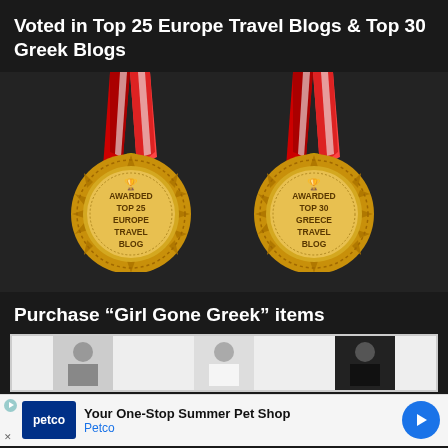Voted in Top 25 Europe Travel Blogs & Top 30 Greek Blogs
[Figure (illustration): Two gold award medals with red and white ribbon lanyard. Left medal reads: AWARDED TOP 25 EUROPE TRAVEL BLOG. Right medal reads: AWARDED TOP 30 GREECE TRAVEL BLOG.]
Purchase “Girl Gone Greek” items
[Figure (photo): Three partially visible product images showing people wearing clothing items]
Your One-Stop Summer Pet Shop
Petco